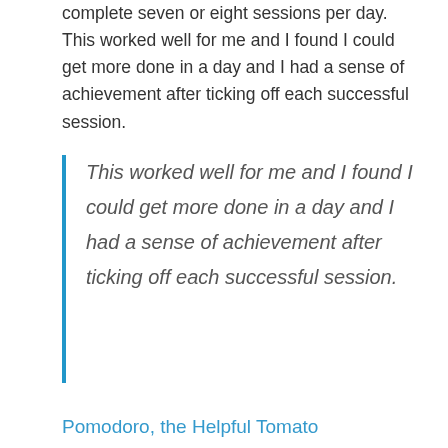complete seven or eight sessions per day. This worked well for me and I found I could get more done in a day and I had a sense of achievement after ticking off each successful session.
This worked well for me and I found I could get more done in a day and I had a sense of achievement after ticking off each successful session.
Pomodoro, the Helpful Tomato